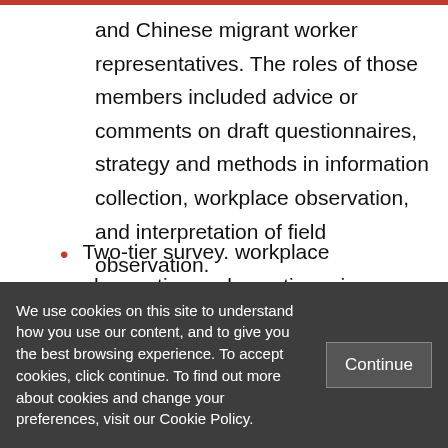and Chinese migrant worker representatives. The roles of those members included advice or comments on draft questionnaires, strategy and methods in information collection, workplace observation, and interpretation of field observation.
Two-tier survey. workplace observation and questionnaire or group discussion. A sample of 25 Chinese factories was
We use cookies on this site to understand how you use our content, and to give you the best browsing experience. To accept cookies, click continue. To find out more about cookies and change your preferences, visit our Cookie Policy.